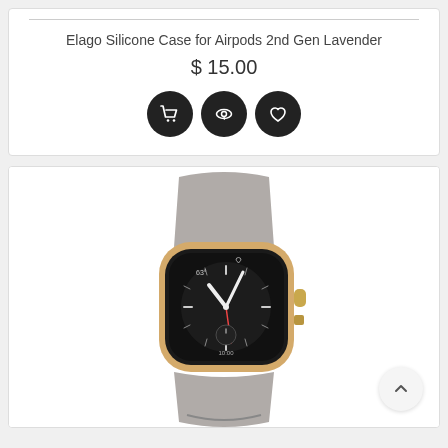Elago Silicone Case for Airpods 2nd Gen Lavender
$ 15.00
[Figure (screenshot): Three dark circular action buttons: shopping cart, eye/view, and heart/wishlist icons]
[Figure (photo): Apple Watch with gold aluminum case and gray sport band, showing analog clock face]